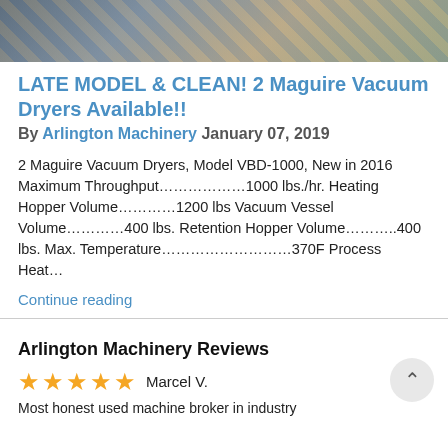[Figure (photo): Top portion of a photo showing machinery or industrial equipment, partially visible at the top of the page]
LATE MODEL & CLEAN! 2 Maguire Vacuum Dryers Available!!
By Arlington Machinery January 07, 2019
2 Maguire Vacuum Dryers, Model VBD-1000, New in 2016 Maximum Throughput…………….1000 lbs./hr. Heating Hopper Volume………….1200 lbs Vacuum Vessel Volume………….400 lbs. Retention Hopper Volume………..400 lbs. Max. Temperature………………………370F Process Heat…
Continue reading
Arlington Machinery Reviews
★★★★★ Marcel V.
Most honest used machine broker in industry